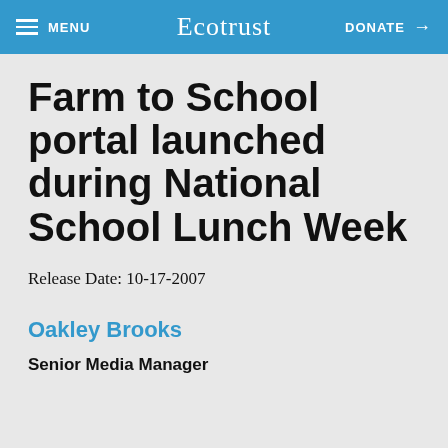MENU | Ecotrust | DONATE →
Farm to School portal launched during National School Lunch Week
Release Date: 10-17-2007
Oakley Brooks
Senior Media Manager